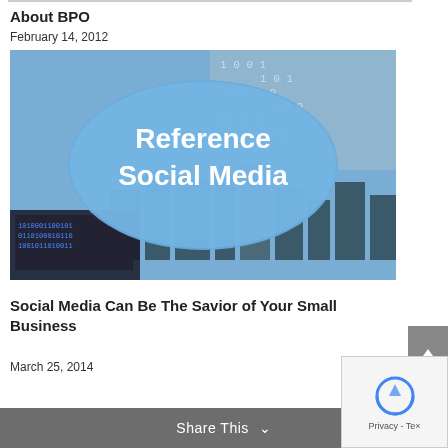About BPO
February 14, 2012
[Figure (photo): Blog post thumbnail image featuring a blue oval with text 'Reference Social Media' overlaid on a background showing a laptop, cityscape, and binary code numbers]
Social Media Can Be The Savior of Your Small Business
March 25, 2014
Share This